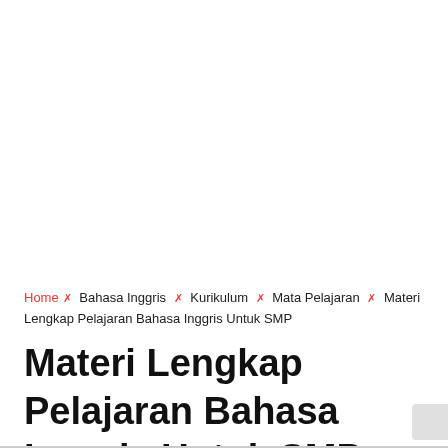Home × Bahasa Inggris × Kurikulum × Mata Pelajaran × Materi Lengkap Pelajaran Bahasa Inggris Untuk SMP
Materi Lengkap Pelajaran Bahasa Inggris Untuk SMP